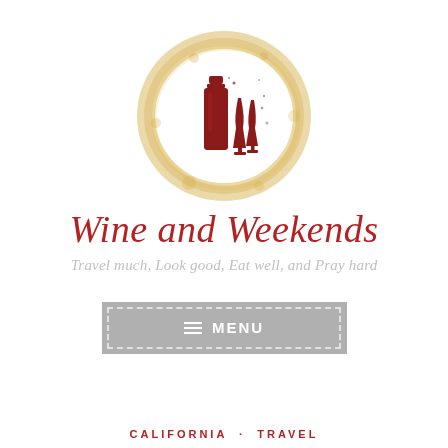[Figure (logo): Wine bottle and two wine glasses in dark red/maroon color, surrounded by a circular golden-yellow watercolor wine stain ring]
Wine and Weekends
Travel much, Look good, Eat well, and Pray hard
MENU
CALIFORNIA · TRAVEL